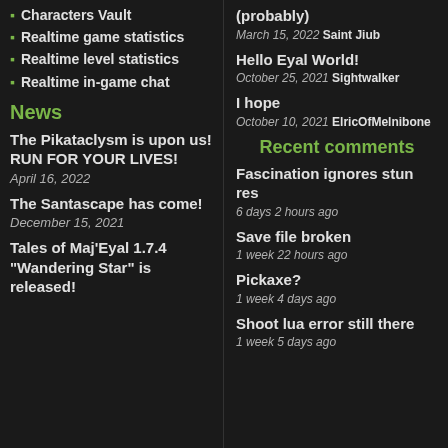Characters Vault
Realtime game statistics
Realtime level statistics
Realtime in-game chat
News
The Pikataclysm is upon us! RUN FOR YOUR LIVES!
April 16, 2022
The Santascape has come!
December 15, 2021
Tales of Maj'Eyal 1.7.4 "Wandering Star" is released!
(probably)
March 15, 2022 Saint Jiub
Hello Eyal World!
October 25, 2021 Sightwalker
I hope
October 10, 2021 ElricOfMelnibone
Recent comments
Fascination ignores stun res
6 days 2 hours ago
Save file broken
1 week 22 hours ago
Pickaxe?
1 week 4 days ago
Shoot lua error still there
1 week 5 days ago